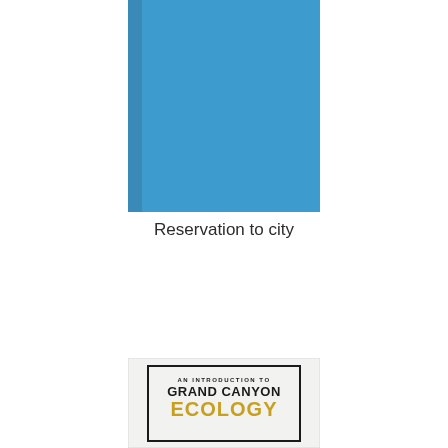[Figure (photo): Blue book cover with darker blue spine on the left side, solid blue color, viewed from a slight angle]
Reservation to city
[Figure (photo): Book cover of 'An Introduction to Grand Canyon Ecology' showing the title text with 'ECOLOGY' in large gold/yellow letters on a light background with a black border frame]